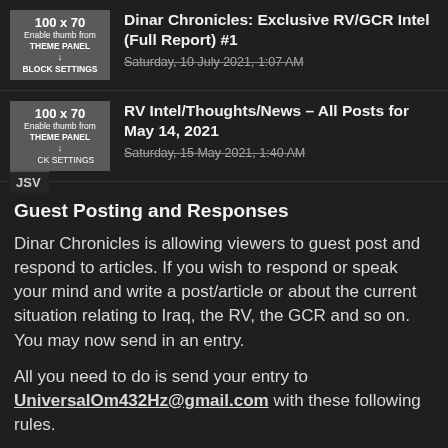[Figure (other): Thumbnail placeholder showing '100 x 70' with text 'Enable thumb from THEME PANEL → BLOCK SETTINGS']
Dinar Chronicles: Exclusive RV/GCR Intel (Full Report) #1
Saturday, 10 July 2021, 1:07 AM
[Figure (other): Thumbnail placeholder showing '100 x 70' with text 'Enable thumb from THEME PANEL → BLOCK SETTINGS' and JSV label]
RV Intel/Thoughts/News – All Posts for May 14, 2021
Saturday, 15 May 2021, 1:40 AM
Guest Posting and Responses
Dinar Chronicles is allowing viewers to guest post and respond to articles. If you wish to respond or speak your mind and write a post/article or about the current situation relating to Iraq, the RV, the GCR and so on. You may now send in an entry.
All you need to do is send your entry to UniversalOm432Hz@gmail.com with these following rules.